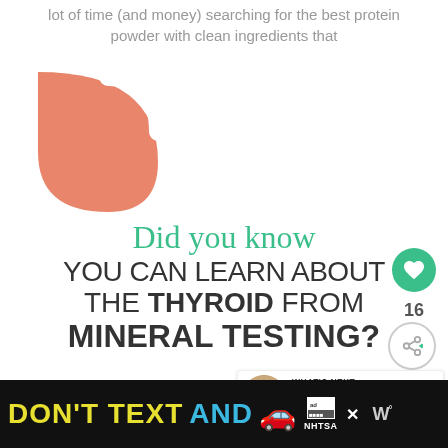lot of time (and money) searching for the best protein powder with clean ingredients that
[Figure (illustration): Salmon/coral colored blob shape resembling a quotation mark or speech bubble partial shape]
[Figure (infographic): Infographic text: 'Did you know YOU CAN LEARN ABOUT THE THYROID FROM MINERAL TESTING?' with heart button showing 16 likes and share button]
[Figure (infographic): WHAT'S NEXT section with cookie image and text 'The Only Protein Ball...']
[Figure (infographic): Ad banner: DON'T TEXT AND [car emoji] with NHTSA logo and close button]